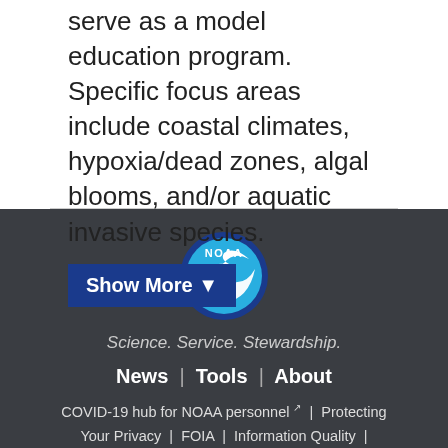serve as a model education program. Specific focus areas include coastal climates, hypoxia/dead zones, algal blooms, and/or aquatic invasive species.
Show More ▼
[Figure (logo): NOAA circular logo with blue background, white wave/bird design, and NOAA text]
Science. Service. Stewardship.
News | Tools | About
COVID-19 hub for NOAA personnel ↗ | Protecting Your Privacy | FOIA | Information Quality | Accessibility Guidance | Budget & Perf...